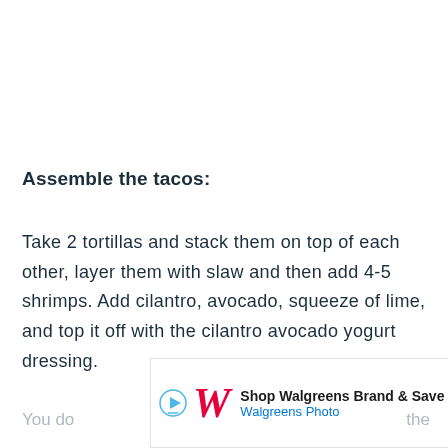Assemble the tacos:
Take 2 tortillas and stack them on top of each other, layer them with slaw and then add 4-5 shrimps. Add cilantro, avocado, squeeze of lime, and top it off with the cilantro avocado yogurt dressing.
[Figure (other): Walgreens advertisement banner: Play button icon, Walgreens red W logo, text 'Shop Walgreens Brand & Save' and 'Walgreens Photo', blue arrow navigation icon on right]
You do... the